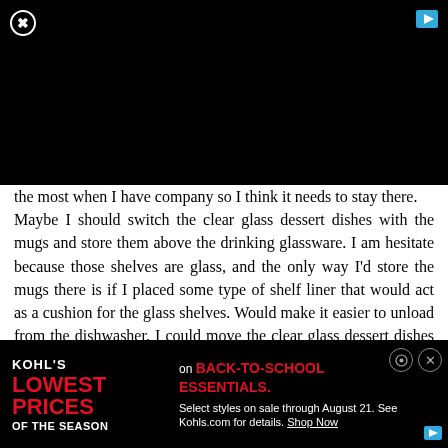[Figure (other): Black video player area with close button (X in circle) top-left and small teal ad icon top-right]
the most when I have company so I think it needs to stay there.
Maybe I should switch the clear glass dessert dishes with the mugs and store them above the drinking glassware. I am hesitate because those shelves are glass, and the only way I'd store the mugs there is if I placed some type of shelf liner that would act as a cushion for the glass shelves. Would make it easier to unload from the dishwasher. I could move the clear glass dessert dishes elsewhere. I am thinking of a perfect place; on top shelf above the Corningware dishes. I just went out and straightened up
[Figure (infographic): Kohl's advertisement banner: black background, Kohl's logo, 'LOWEST PRICES OF THE SEASON' in red/white, 'on BACK-TO-SCHOOL ESSENTIALS.' in red bold, 'Select styles on sale through August 21. See Kohls.com for details. Shop Now' in white text]